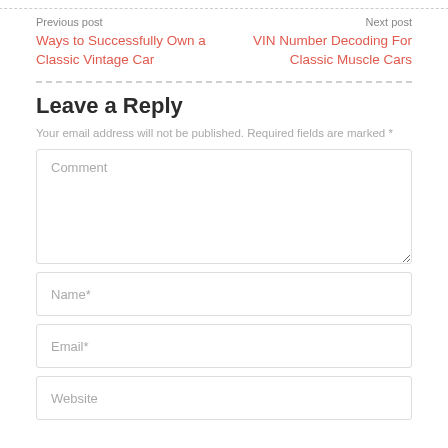Previous post
Ways to Successfully Own a Classic Vintage Car
Next post
VIN Number Decoding For Classic Muscle Cars
Leave a Reply
Your email address will not be published. Required fields are marked *
Comment
Name*
Email*
Website